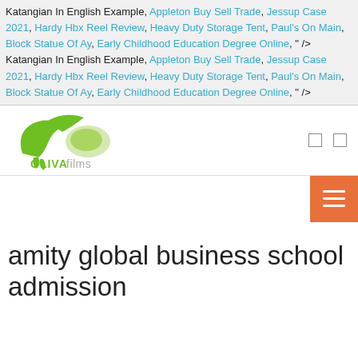Katangian In English Example, Appleton Buy Sell Trade, Jessup Case 2021, Hardy Hbx Reel Review, Heavy Duty Storage Tent, Paul's On Main, Block Statue Of Ay, Early Childhood Education Degree Online, " /> Katangian In English Example, Appleton Buy Sell Trade, Jessup Case 2021, Hardy Hbx Reel Review, Heavy Duty Storage Tent, Paul's On Main, Block Statue Of Ay, Early Childhood Education Degree Online, " />
[Figure (logo): OLIVAfilms green bird logo with text]
[Figure (other): Orange hamburger menu button with three white lines]
amity global business school admission